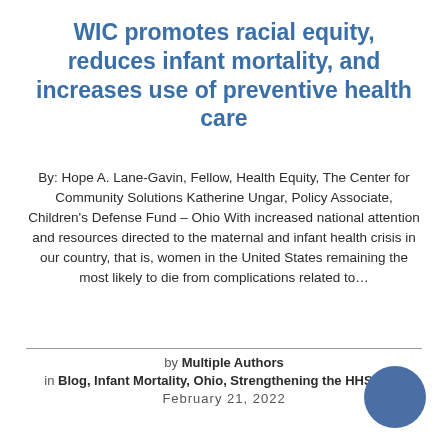WIC promotes racial equity, reduces infant mortality, and increases use of preventive health care
By: Hope A. Lane-Gavin, Fellow, Health Equity, The Center for Community Solutions Katherine Ungar, Policy Associate, Children's Defense Fund – Ohio With increased national attention and resources directed to the maternal and infant health crisis in our country, that is, women in the United States remaining the most likely to die from complications related to…
by Multiple Authors
in Blog, Infant Mortality, Ohio, Strengthening the HHS Safe…
February 21, 2022